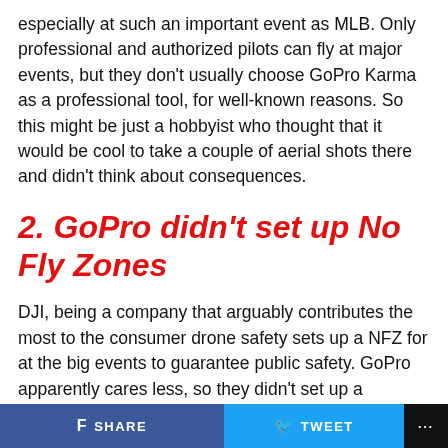especially at such an important event as MLB. Only professional and authorized pilots can fly at major events, but they don't usually choose GoPro Karma as a professional tool, for well-known reasons. So this might be just a hobbyist who thought that it would be cool to take a couple of aerial shots there and didn't think about consequences.
2. GoPro didn't set up No Fly Zones
DJI, being a company that arguably contributes the most to the consumer drone safety sets up a NFZ for at the big events to guarantee public safety. GoPro apparently cares less, so they didn't set up a temporary no-flight zone at MLB. GoPro Karma wouldn't be able to take off if there was a NFZ
SHARE   TWEET